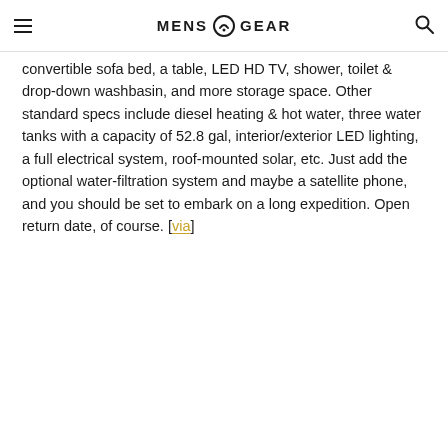MENS GEAR
convertible sofa bed, a table, LED HD TV, shower, toilet & drop-down washbasin, and more storage space. Other standard specs include diesel heating & hot water, three water tanks with a capacity of 52.8 gal, interior/exterior LED lighting, a full electrical system, roof-mounted solar, etc. Just add the optional water-filtration system and maybe a satellite phone, and you should be set to embark on a long expedition. Open return date, of course. [via]